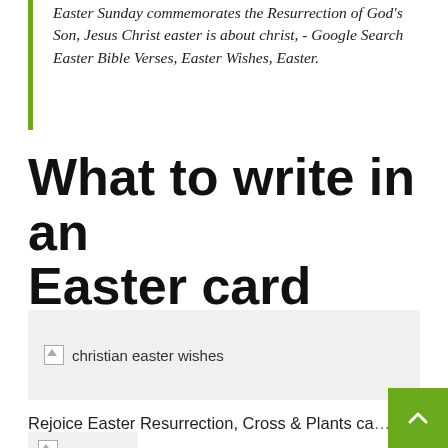Easter Sunday commemorates the Resurrection of God's Son, Jesus Christ easter is about christ, - Google Search Easter Bible Verses, Easter Wishes, Easter.
What to write in an Easter card
[Figure (photo): Broken image placeholder labeled 'christian easter wishes' on a light gray background]
Rejoice Easter Resurrection, Cross & Plants ca...
[Figure (photo): Small broken image placeholder in a light gray box, partially visible at bottom of page]